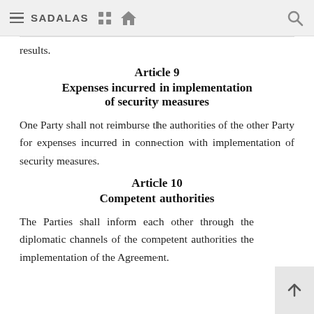SADALAS
results.
Article 9
Expenses incurred in implementation of security measures
One Party shall not reimburse the authorities of the other Party for expenses incurred in connection with implementation of security measures.
Article 10
Competent authorities
The Parties shall inform each other through the diplomatic channels of the competent authorities the implementation of the Agreement.